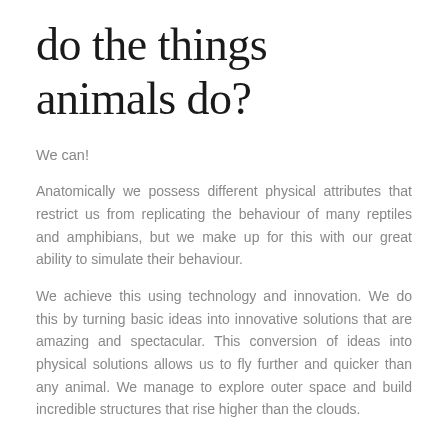do the things animals do?
We can!
Anatomically we possess different physical attributes that restrict us from replicating the behaviour of many reptiles and amphibians, but we make up for this with our great ability to simulate their behaviour.
We achieve this using technology and innovation. We do this by turning basic ideas into innovative solutions that are amazing and spectacular. This conversion of ideas into physical solutions allows us to fly further and quicker than any animal. We manage to explore outer space and build incredible structures that rise higher than the clouds.